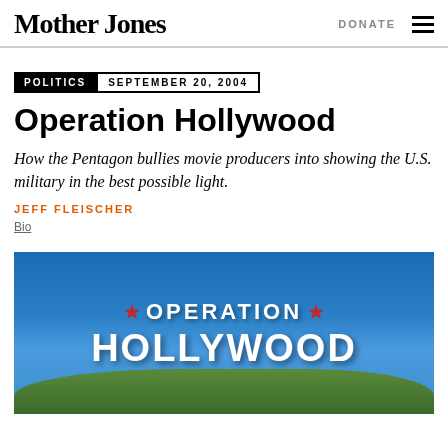Mother Jones | DONATE
POLITICS  SEPTEMBER 20, 2004
Operation Hollywood
How the Pentagon bullies movie producers into showing the U.S. military in the best possible light.
JEFF FLEISCHER
Bio
[Figure (photo): Hollywood sign modified to read OPERATION HOLLYWOOD with red stars on either side, set against a blue sky with green hills]